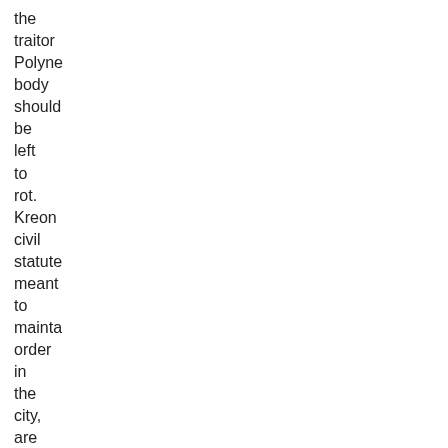the traitor Polyne body should be left to rot. Kreon civil statute meant to mainta order in the city, are antithe to Antigo